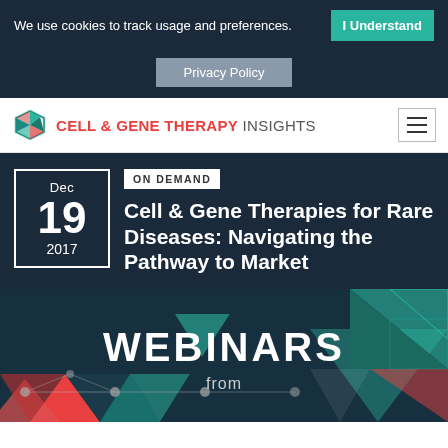We use cookies to track usage and preferences.  I Understand
Privacy Policy
CELL & GENE THERAPY INSIGHTS
ON DEMAND
Cell & Gene Therapies for Rare Diseases: Navigating the Pathway to Market
Dec 19 2017
[Figure (illustration): Webinar promotional banner with geometric diamond/triangle pattern in teal, coral, dark blue and white. Text reads WEBINARS from.]